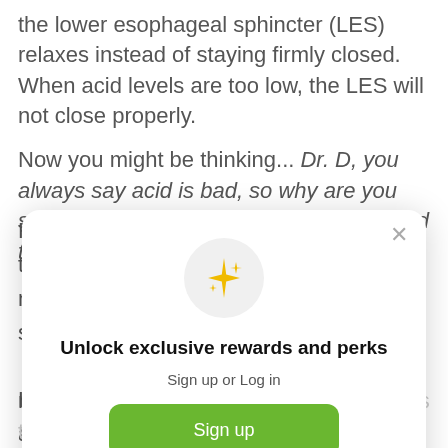the lower esophageal sphincter (LES) relaxes instead of staying firmly closed. When acid levels are too low, the LES will not close properly.
Now you might be thinking... Dr. D, you always say acid is bad, so why are you saying more acid in the stomach is a good thing?
F... th... n... s...
H... a... th...
T... reflux symptoms worse. They are all foods that will...
[Figure (screenshot): Modal popup overlay with sparkle icon, title 'Unlock exclusive rewards and perks', subtitle 'Sign up or Log in', green 'Sign up' button, and footer 'Already have an account? Sign in'. Close (X) button in top right.]